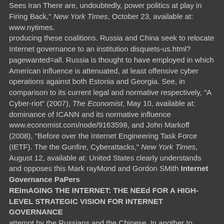Sees Iran There are, undoubtedly, power politics at play in Firing Back," New York Times, October 23, available at: www.nytimes.
producing these coalitions. Russia and China seek to relocate Internet governance to an institution disquiets-us.html?pagewanted=all. Russia is thought to have employed in which American influence is attenuated, at least offensive cyber operations against both Estonia and Georgia. See, in comparison to its current legal and normative respectively, "A Cyber-riot" (2007), The Economist, May 10, available at: dominance of ICANN and its normative influence www.economist.com/node/9163598, and John Markoff (2008), "Before over the Internet Engineering Task Force (IETF). The the Gunfire, Cyberattacks," New York Times, August 12, available at: United States clearly understands and opposes this Mark rayMond and Gordon SMith Internet Governance PaPers
REImAGING THE INTERNET: THE NEEd FOR A HIGH-LEVEL STRATEGIC VISION FOR INTERNET GOVERNANCE
attempt by the Russians and the Chinese. In another to